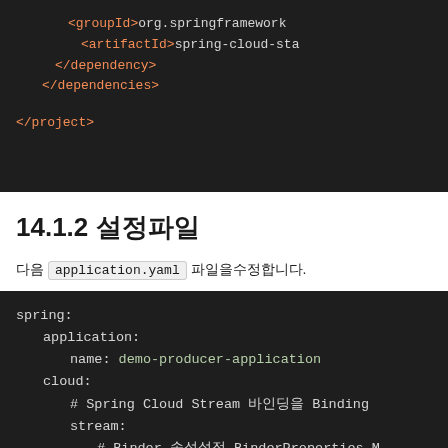[Figure (screenshot): Dark-themed code block showing XML with groupId, artifactId, closing dependency and dependencies tags, and closing project tag. Salmon/orange colored XML tags on dark background.]
14.1.2 설정파일
다음 application.yaml 파일을수정합니다.
[Figure (screenshot): Dark-themed YAML code block showing spring application config with name: demo-producer-application, cloud section with Spring Cloud Stream Binding comment, stream key, and Binder BinderProperties comment.]